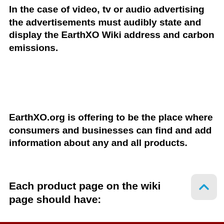In the case of video, tv or audio advertising the advertisements must audibly state and display the EarthXO Wiki address and carbon emissions.
EarthXO.org is offering to be the place where consumers and businesses can find and add information about any and all products.
Each product page on the wiki page should have: